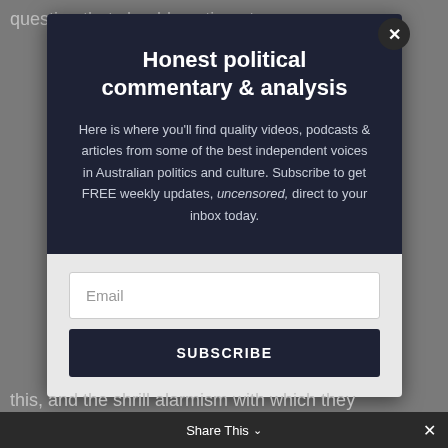question that should continue to concern you an
Honest political commentary & analysis
Here is where you'll find quality videos, podcasts & articles from some of the best independent voices in Australian politics and culture. Subscribe to get FREE weekly updates, uncensored, direct to your inbox today.
Email
SUBSCRIBE
this, and the shrill alarmism with which they
Share This